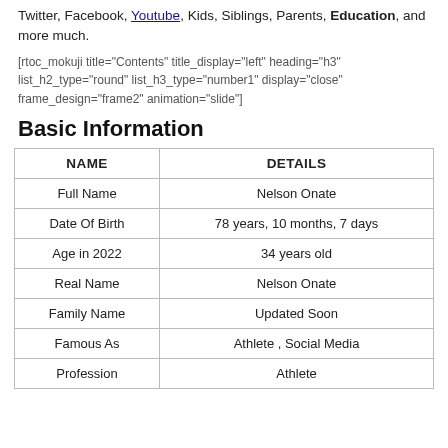Twitter, Facebook, Youtube, Kids, Siblings, Parents, Education, and more much.
[rtoc_mokuji title="Contents" title_display="left" heading="h3" list_h2_type="round" list_h3_type="number1" display="close" frame_design="frame2" animation="slide"]
Basic Information
| NAME | DETAILS |
| --- | --- |
| Full Name | Nelson Onate |
| Date Of Birth | 78 years, 10 months, 7 days |
| Age in 2022 | 34 years old |
| Real Name | Nelson Onate |
| Family Name | Updated Soon |
| Famous As | Athlete , Social Media |
| Profession | Athlete |